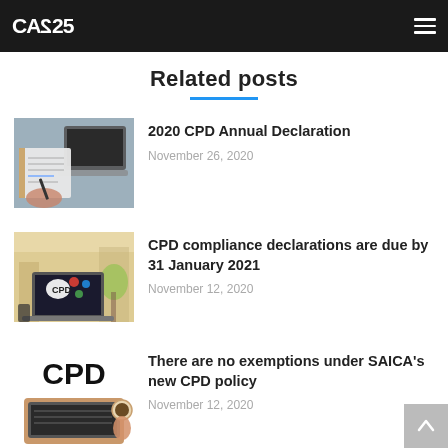CA2025
Related posts
[Figure (photo): Hand writing on notepad with laptop in background]
2020 CPD Annual Declaration
November 26, 2020
[Figure (photo): Laptop screen displaying CPD with icons on screen, office background]
CPD compliance declarations are due by 31 January 2021
November 12, 2020
[Figure (photo): CPD text logo in bold black letters above a laptop aerial view with coffee]
There are no exemptions under SAICA's new CPD policy
November 12, 2020